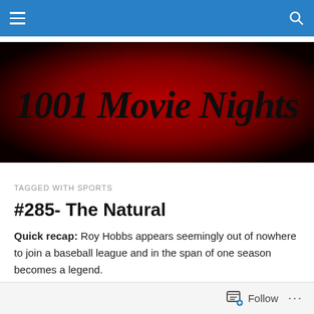Navigation bar with hamburger menu and search icon
[Figure (illustration): 1001 Movie Nights banner with large bold text on a dark red radial gradient background]
TAGGED WITH SPORTS
#285- The Natural
Quick recap: Roy Hobbs appears seemingly out of nowhere to join a baseball league and in the span of one season becomes a legend.
Follow ...